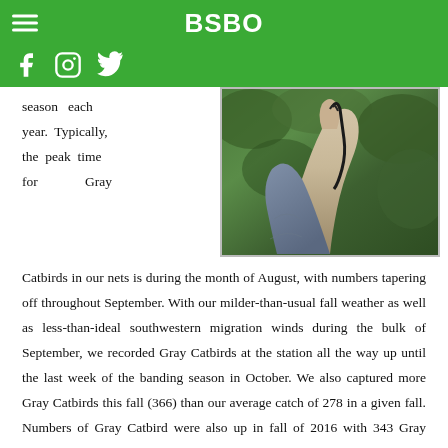BSBO
[Figure (photo): Close-up photo of a hand holding a Gray Catbird, with green foliage in the background.]
season each year. Typically, the peak time for Gray Catbirds in our nets is during the month of August, with numbers tapering off throughout September. With our milder-than-usual fall weather as well as less-than-ideal southwestern migration winds during the bulk of September, we recorded Gray Catbirds at the station all the way up until the last week of the banding season in October. We also captured more Gray Catbirds this fall (366) than our average catch of 278 in a given fall. Numbers of Gray Catbird were also up in fall of 2016 with 343 Gray Catbirds banded.